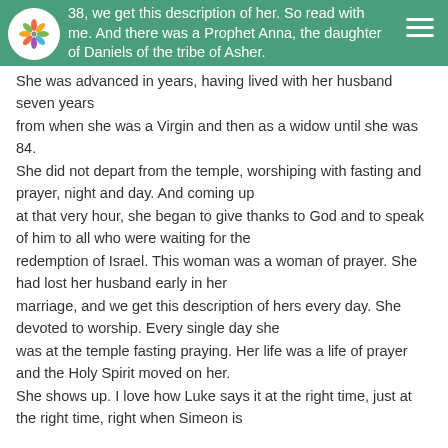38, we get this description of her. So read with me. And there was a Prophet Anna, the daughter of Daniels of the tribe of Asher.
having lived with her husband seven years from when she was a Virgin and then as a widow until she was 84. She did not depart from the temple, worshiping with fasting and prayer, night and day. And coming up at that very hour, she began to give thanks to God and to speak of him to all who were waiting for the redemption of Israel. This woman was a woman of prayer. She had lost her husband early in her marriage, and we get this description of hers every day. She devoted to worship. Every single day she was at the temple fasting praying. Her life was a life of prayer and the Holy Spirit moved on her. She shows up. I love how Luke says it at the right time, just at the right time, right when Simeon is